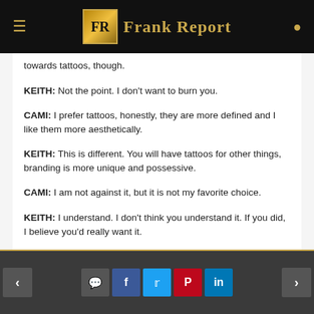Frank Report
towards tattoos, though.
KEITH: Not the point. I don't want to burn you.
CAMI: I prefer tattoos, honestly, they are more defined and I like them more aesthetically.
KEITH: This is different. You will have tattoos for other things, branding is more unique and possessive.
CAMI: I am not against it, but it is not my favorite choice.
KEITH: I understand. I don't think you understand it. If you did, I believe you'd really want it.
< > social share buttons